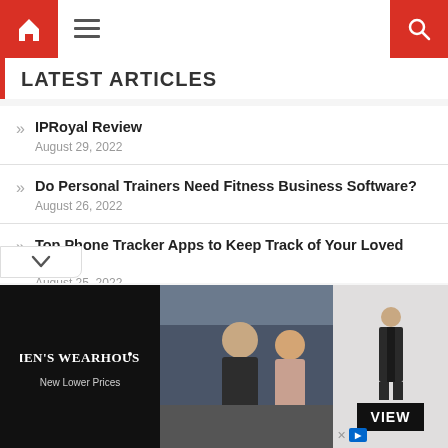LATEST ARTICLES
IPRoyal Review — August 29, 2022
Do Personal Trainers Need Fitness Business Software? — August 26, 2022
Top Phone Tracker Apps to Keep Track of Your Loved Ones — August 25, 2022
Breaking down the leading indicators of a good website on the Internet — August 24, 2022
[Figure (photo): Men's Wearhouse advertisement banner showing a man in a tuxedo with a woman, and a separate male figure in a suit, with 'MEN'S WEARHOUSE New Lower Prices' text and a VIEW button]